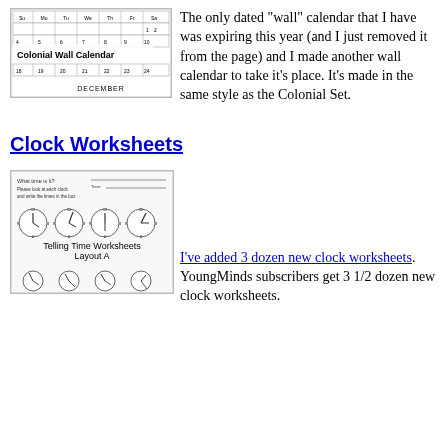[Figure (illustration): Thumbnail of a Colonial Wall Calendar showing a December month grid with days and dates, and the label 'Colonial Wall Calendar' overlaid on the image.]
The only dated "wall" calendar that I have was expiring this year (and I just removed it from the page) and I made another wall calendar to take it's place. It's made in the same style as the Colonial Set.
Clock Worksheets
[Figure (illustration): Thumbnail image of a Telling Time Worksheets Layout A page with multiple clock faces showing different times and instructions to write the time.]
I've added 3 dozen new clock worksheets. YoungMinds subscribers get 3 1/2 dozen new clock worksheets.